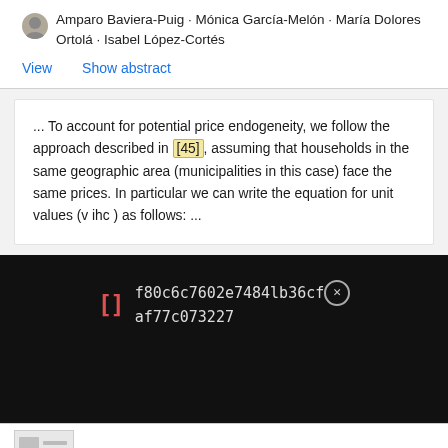Amparo Baviera-Puig · Mónica García-Melón · María Dolores Ortolá · Isabel López-Cortés
View    Show abstract
... To account for potential price endogeneity, we follow the approach described in [45], assuming that households in the same geographic area (municipalities in this case) face the same prices. In particular we can write the equation for unit values (v ihc ) as follows: ...
[] f80c6c7602e7484lb36cf⊗ af77c073227